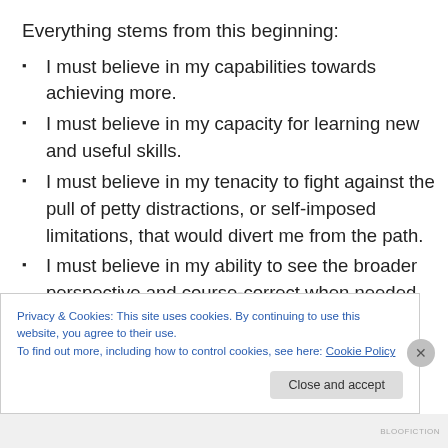Everything stems from this beginning:
I must believe in my capabilities towards achieving more.
I must believe in my capacity for learning new and useful skills.
I must believe in my tenacity to fight against the pull of petty distractions, or self-imposed limitations, that would divert me from the path.
I must believe in my ability to see the broader perspective and course-correct when needed.
Privacy & Cookies: This site uses cookies. By continuing to use this website, you agree to their use. To find out more, including how to control cookies, see here: Cookie Policy